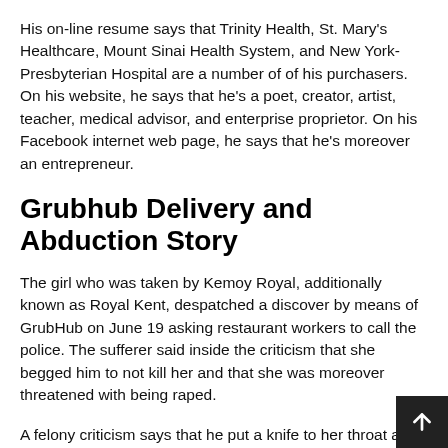His on-line resume says that Trinity Health, St. Mary's Healthcare, Mount Sinai Health System, and New York-Presbyterian Hospital are a number of of his purchasers. On his website, he says that he's a poet, creator, artist, teacher, medical advisor, and enterprise proprietor. On his Facebook internet web page, he says that he's moreover an entrepreneur.
Grubhub Delivery and Abduction Story
The girl who was taken by Kemoy Royal, additionally known as Royal Kent, despatched a discover by means of GrubHub on June 19 asking restaurant workers to call the police. The sufferer said inside the criticism that she begged him to not kill her and that she was moreover threatened with being raped.
A felony criticism says that he put a knife to her throat and